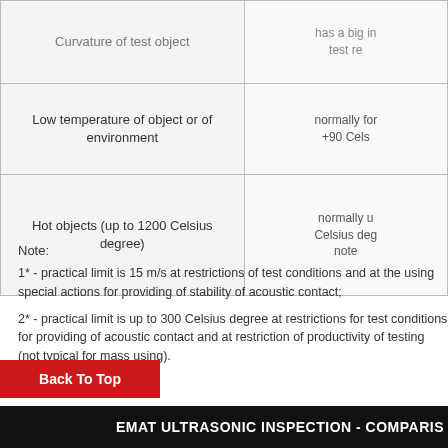| Condition | Effect/Limit |
| --- | --- |
| Curvature of test object | has a big influence on test re... |
| Low temperature of object or of environment | normally for ... +90 Cels... |
| Hot objects (up to 1200 Celsius degree) | normally u... Celsius deg... note... |
Note:
1* - practical limit is 15 m/s at restrictions of test conditions and at the using special actions for providing of stability of acoustic contact;
2* - practical limit is up to 300 Celsius degree at restrictions for test conditions for providing of acoustic contact and at restriction of productivity of testing (not typical for mass using).
EMAT ULTRASONIC INSPECTION - COMPARIS...